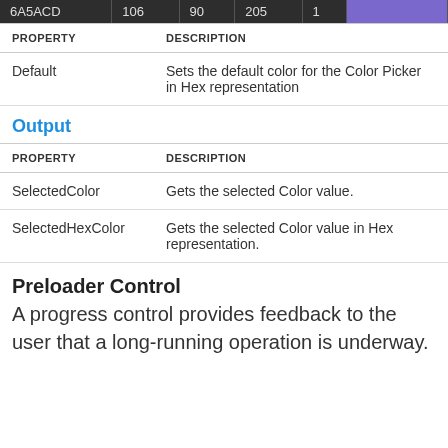|  |  |  |  |  |  |
| --- | --- | --- | --- | --- | --- |
| 6A5ACD | 106 | 90 | 205 | 1 |  |
| PROPERTY | DESCRIPTION |
| --- | --- |
| Default | Sets the default color for the Color Picker in Hex representation |
Output
| PROPERTY | DESCRIPTION |
| --- | --- |
| SelectedColor | Gets the selected Color value. |
| SelectedHexColor | Gets the selected Color value in Hex representation. |
Preloader Control
A progress control provides feedback to the user that a long-running operation is underway.